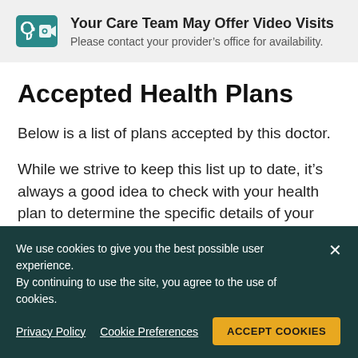[Figure (infographic): Teal icon with stethoscope and video camera symbol inside a rounded square]
Your Care Team May Offer Video Visits
Please contact your provider's office for availability.
Accepted Health Plans
Below is a list of plans accepted by this doctor.
While we strive to keep this list up to date, it's always a good idea to check with your health plan to determine the specific details of your coverage, and to contact the doctor's office to verify acceptance of your particular plan.
We use cookies to give you the best possible user experience. By continuing to use the site, you agree to the use of cookies.
Privacy Policy
Cookie Preferences
ACCEPT COOKIES